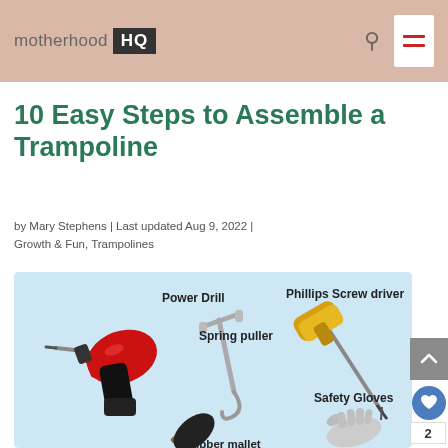motherhood HQ
10 Easy Steps to Assemble a Trampoline
by Mary Stephens | Last updated Aug 9, 2022 | Growth & Fun, Trampolines
[Figure (infographic): Infographic showing tools needed to assemble a trampoline: Power Drill (red), Spring puller (metal hook), Phillips Screw driver (gold/yellow), Rubber mallet (black), Safety Gloves (grey work gloves)]